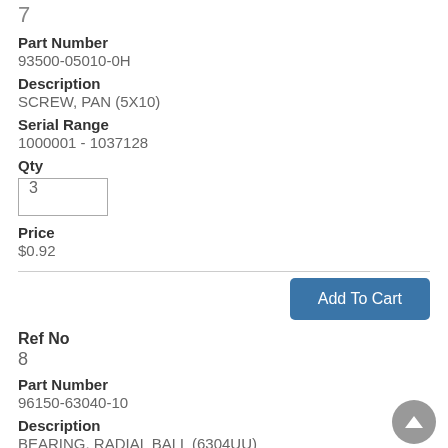7
Part Number
93500-05010-0H
Description
SCREW, PAN (5X10)
Serial Range
1000001 - 1037128
Qty
3
Price
$0.92
Add To Cart
Ref No
8
Part Number
96150-63040-10
Description
BEARING, RADIAL BALL (6304UU)
Serial Range